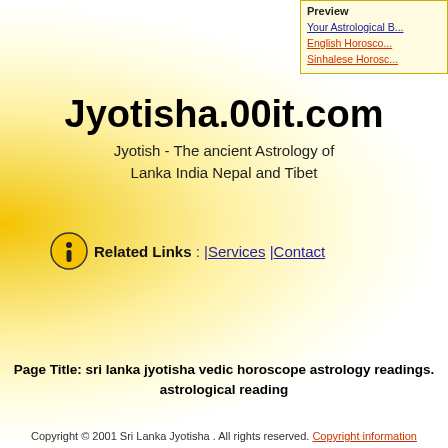Preview | Your Astrological B... | English Horosco... | Sinhalese Horosc...
Jyotisha.00it.com
Jyotish - The ancient Astrology of Lanka India Nepal and Tibet
Related Links : |Services |Contact
Page Title: sri lanka jyotisha vedic horoscope astrology readings. astrological reading
Copyright © 2001 Sri Lanka Jyotisha . All rights reserved. Copyright information